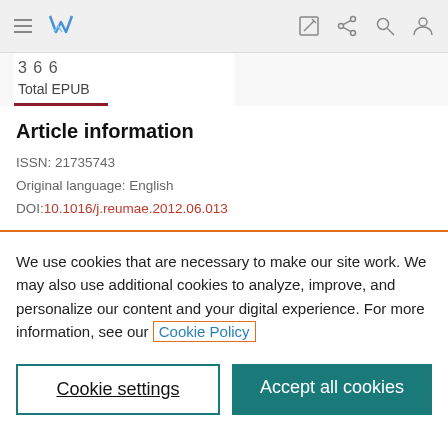Navigation bar with hamburger menu, logo, edit icon, share icon, search icon, profile icon
Total EPUB
Article information
ISSN: 21735743
Original language: English
DOI: 10.1016/j.reumae.2012.06.013
We use cookies that are necessary to make our site work. We may also use additional cookies to analyze, improve, and personalize our content and your digital experience. For more information, see our Cookie Policy
Cookie settings
Accept all cookies